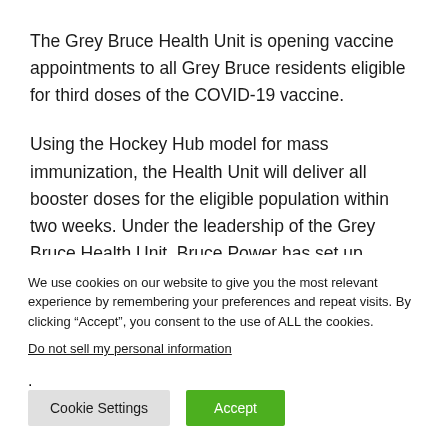The Grey Bruce Health Unit is opening vaccine appointments to all Grey Bruce residents eligible for third doses of the COVID-19 vaccine.
Using the Hockey Hub model for mass immunization, the Health Unit will deliver all booster doses for the eligible population within two weeks. Under the leadership of the Grey Bruce Health Unit, Bruce Power has set up Hockey Hub
We use cookies on our website to give you the most relevant experience by remembering your preferences and repeat visits. By clicking “Accept”, you consent to the use of ALL the cookies.
Do not sell my personal information.